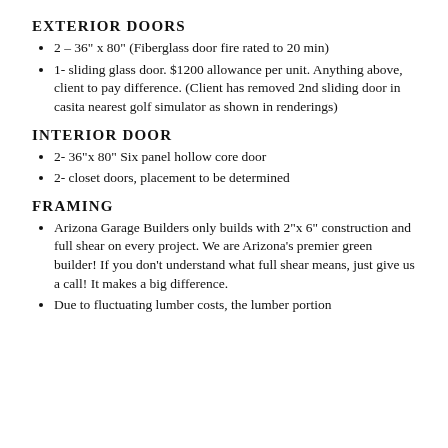EXTERIOR DOORS
2 – 36" x 80" (Fiberglass door fire rated to 20 min)
1- sliding glass door. $1200 allowance per unit. Anything above, client to pay difference. (Client has removed 2nd sliding door in casita nearest golf simulator as shown in renderings)
INTERIOR DOOR
2- 36"x 80" Six panel hollow core door
2- closet doors, placement to be determined
FRAMING
Arizona Garage Builders only builds with 2"x 6" construction and full shear on every project. We are Arizona's premier green builder! If you don't understand what full shear means, just give us a call! It makes a big difference.
Due to fluctuating lumber costs, the lumber portion